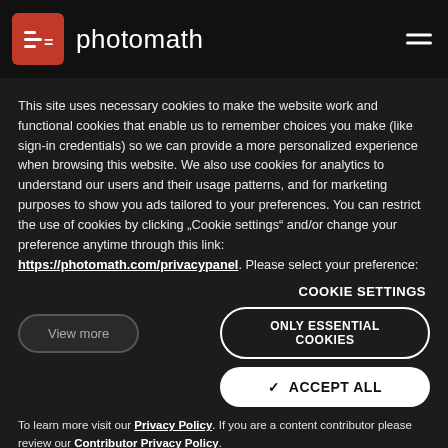[Figure (logo): Photomath logo with red rounded square icon containing [x=] symbol and 'photomath' text beside it, hamburger menu icon at top right]
This site uses necessary cookies to make the website work and functional cookies that enable us to remember choices you make (like sign-in credentials) so we can provide a more personalized experience when browsing this website. We also use cookies for analytics to understand our users and their usage patterns, and for marketing purposes to show you ads tailored to your preferences. You can restrict the use of cookies by clicking “Cookie settings” and/or change your preference anytime through this link: https://photomath.com/privacypanel. Please select your preference:
COOKIE SETTINGS
View more
ONLY ESSENTIAL COOKIES
✓ ACCEPT ALL
To learn more visit our Privacy Policy. If you are a content contributor please review our Contributor Privacy Policy.
As you work with functions more, you'll learn that